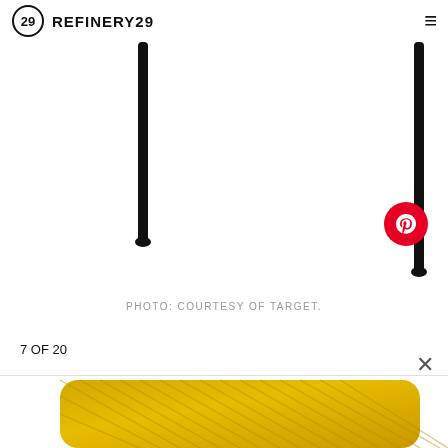REFINERY29
[Figure (photo): White background with two black thin vertical rods (furniture legs) hanging from top, resembling a table or stool viewed from below]
PHOTO: COURTESY OF TARGET.
7 OF 20
[Figure (photo): Yellow/gold textured rectangular throw pillow with diagonal ribbed/striped texture, cropped at bottom of page]